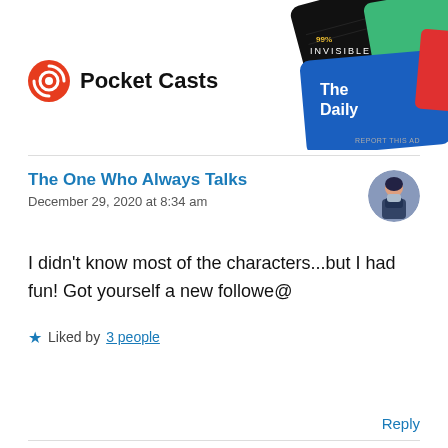[Figure (screenshot): Pocket Casts advertisement banner with podcast cover art cards (99% Invisible and The Daily) visible in the top right corner. The Pocket Casts logo (orange/red circular icon) and brand name appear on the left.]
REPORT THIS AD
The One Who Always Talks
December 29, 2020 at 8:34 am
I didn’t know most of the characters...but I had fun! Got yourself a new followe@
Liked by 3 people
Reply